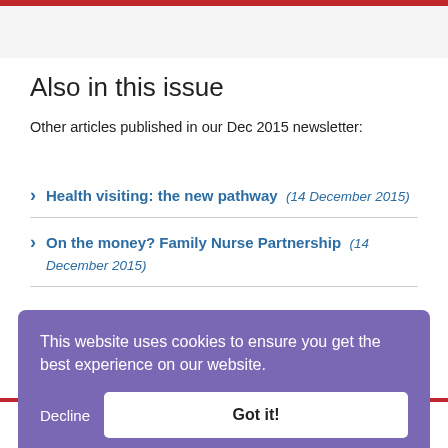Also in this issue
Other articles published in our Dec 2015 newsletter:
Health visiting: the new pathway (14 December 2015)
On the money? Family Nurse Partnership (14 December 2015)
This website uses cookies to ensure you get the best experience on our website.
Decline   Got it!
Related articles
Other articles about family support: